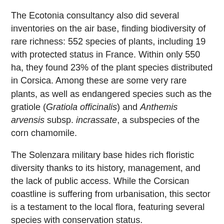The Ecotonia consultancy also did several inventories on the air base, finding biodiversity of rare richness: 552 species of plants, including 19 with protected status in France. Within only 550 ha, they found 23% of the plant species distributed in Corsica. Among these are some very rare plants, as well as endangered species such as the gratiole (Gratiola officinalis) and Anthemis arvensis subsp. incrassate, a subspecies of the corn chamomile.
The Solenzara military base hides rich floristic diversity thanks to its history, management, and the lack of public access. While the Corsican coastline is suffering from urbanisation, this sector is a testament to the local flora, featuring several species with conservation status.
The protection of this richness is crucial. “If logistical developments are carried out on this base, they will have to favour the conservation of this exceptional floristic biodiversity, and, in particular of this particularly abundant orchid. Military bases are a great opportunity for the conservation of species and would benefit from enhancing their natural heritage,” the